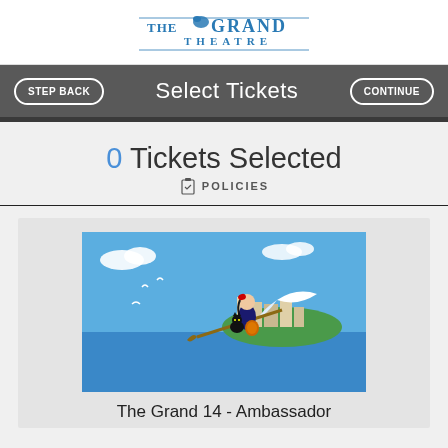[Figure (logo): The Grand Theatre logo with horse icon and blue text]
Select Tickets
0 Tickets Selected
POLICIES
[Figure (illustration): Anime scene from Kiki's Delivery Service showing a young girl on a broomstick flying over a seaside city with birds]
The Grand 14 - Ambassador